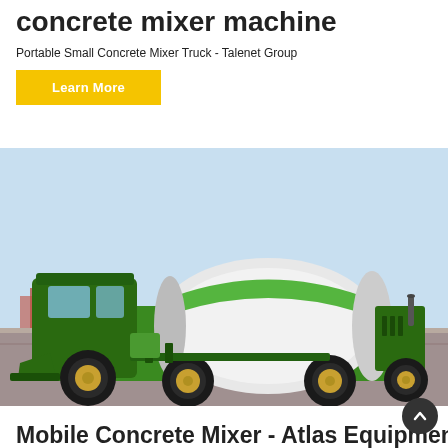concrete mixer machine
Portable Small Concrete Mixer Truck - Talenet Group
[Figure (photo): A green self-loading concrete mixer truck with a large white rotating drum, photographed outdoors on a sandy/rocky surface. The truck has large black tires with gold/yellow rims and a front bucket loader attachment. Green body with white and green drum. Background shows a clear sky and some construction area.]
Mobile Concrete Mixer - Atlas Equipments